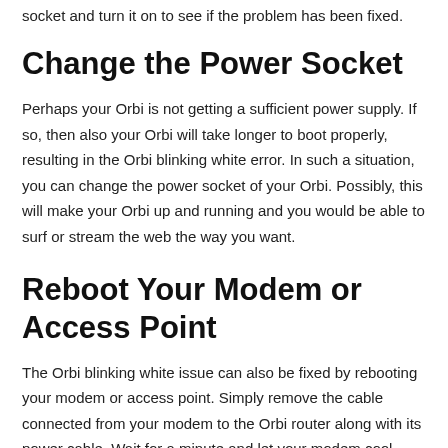socket and turn it on to see if the problem has been fixed.
Change the Power Socket
Perhaps your Orbi is not getting a sufficient power supply. If so, then also your Orbi will take longer to boot properly, resulting in the Orbi blinking white error. In such a situation, you can change the power socket of your Orbi. Possibly, this will make your Orbi up and running and you would be able to surf or stream the web the way you want.
Reboot Your Modem or Access Point
The Orbi blinking white issue can also be fixed by rebooting your modem or access point. Simply remove the cable connected from your modem to the Orbi router along with its power cable. Wait for a minute and let your modem cool down. Now, again power up the